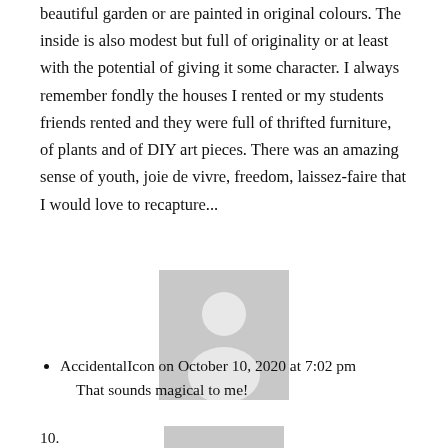beautiful garden or are painted in original colours. The inside is also modest but full of originality or at least with the potential of giving it some character. I always remember fondly the houses I rented or my students friends rented and they were full of thrifted furniture, of plants and of DIY art pieces. There was an amazing sense of youth, joie de vivre, freedom, laissez-faire that I would love to recapture...
[Figure (photo): Gray placeholder avatar image showing a silhouette of a person]
AccidentalIcon on October 10, 2020 at 7:02 pm
That sounds magical to me!
10.